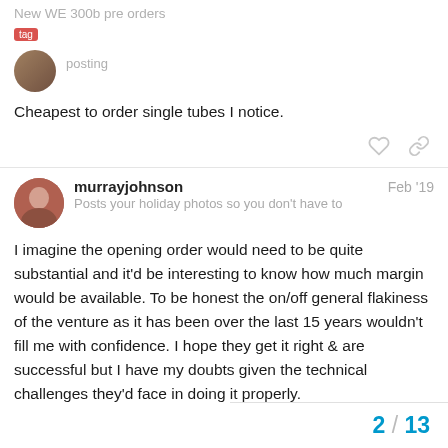New WE 300b pre orders
Cheapest to order single tubes I notice.
murrayjohnson  Feb '19
Posts your holiday photos so you don't have to
I imagine the opening order would need to be quite substantial and it'd be interesting to know how much margin would be available. To be honest the on/off general flakiness of the venture as it has been over the last 15 years wouldn't fill me with confidence. I hope they get it right & are successful but I have my doubts given the technical challenges they'd face in doing it properly.
2 / 13